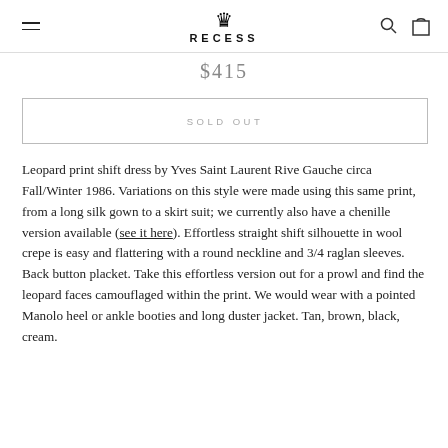RECESS
$415
SOLD OUT
Leopard print shift dress by Yves Saint Laurent Rive Gauche circa Fall/Winter 1986. Variations on this style were made using this same print, from a long silk gown to a skirt suit; we currently also have a chenille version available (see it here). Effortless straight shift silhouette in wool crepe is easy and flattering with a round neckline and 3/4 raglan sleeves. Back button placket. Take this effortless version out for a prowl and find the leopard faces camouflaged within the print. We would wear with a pointed Manolo heel or ankle booties and long duster jacket. Tan, brown, black, cream.